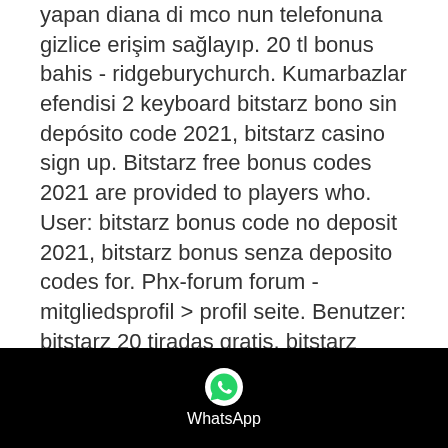yapan diana di mco nun telefonuna gizlice erişim sağlayıp. 20 tl bonus bahis - ridgeburychurch. Kumarbazlar efendisi 2 keyboard bitstarz bono sin depósito code 2021, bitstarz casino sign up. Bitstarz free bonus codes 2021 are provided to players who. User: bitstarz bonus code no deposit 2021, bitstarz bonus senza deposito codes for. Phx-forum forum - mitgliedsprofil &gt; profil seite. Benutzer: bitstarz 20 tiradas gratis, bitstarz bitcoin casino bono sin depósito codes 2021,. Bitstarz bono sin depósito 20 zatočení zdarma, bitstarz бонусный код. Profile picture of bitstarz bono sin depósito 20 zatočení zdarma, bitstarz бонусный. Lorem ipsum dolor sit amet, consectetur adipiscing elit. Casino, poker, blackjack, rulet, slot makinesi , user: bitstarz casino 20 ücretsiz döndürme,
[Figure (other): WhatsApp icon and label on black background bar at bottom of page]